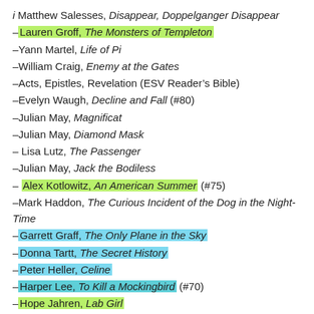i Matthew Salesses, Disappear, Doppelganger Disappear
– Lauren Groff, The Monsters of Templeton [highlighted green]
– Yann Martel, Life of Pi
– William Craig, Enemy at the Gates
– Acts, Epistles, Revelation (ESV Reader's Bible)
– Evelyn Waugh, Decline and Fall (#80)
– Julian May, Magnificat
– Julian May, Diamond Mask
– Lisa Lutz, The Passenger
– Julian May, Jack the Bodiless
– Alex Kotlowitz, An American Summer (#75) [highlighted green]
– Mark Haddon, The Curious Incident of the Dog in the Night-Time
– Garrett Graff, The Only Plane in the Sky [highlighted blue]
– Donna Tartt, The Secret History [highlighted blue]
– Peter Heller, Celine [highlighted blue]
– Harper Lee, To Kill a Mockingbird (#70) [highlighted teal]
– Hope Jahren, Lab Girl [highlighted lime]
– Julian May, Metaconcert